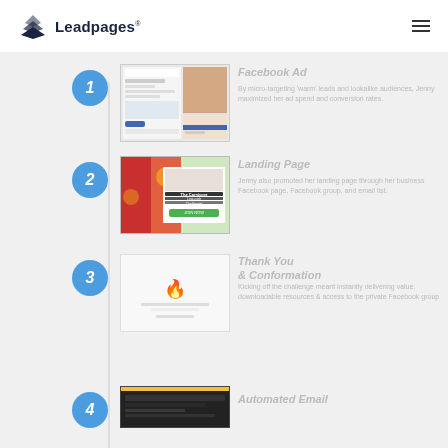[Figure (logo): Leadpages logo with layered triangles icon and text 'Leadpages']
[Figure (screenshot): Facebook Ad screenshot showing ad targeting interface]
Facebook Ad
By micro-targeting 'warm' leads and lookalike audiences, Jenny maximized her ad spend and conversion rates.
[Figure (screenshot): Landing page screenshot with The Carnivore Low-carb Challenge text and food imagery]
Landing Page
Jenny also promoted her landing page through her business Facebook page, Facebook group, and email list.
[Figure (screenshot): Thank You and Confirmation page screenshot with flame icon]
Thank You & Conformation
Kicking off the challenge meant instantly delivering value: downloadable resources & access to the private Facebook group
[Figure (screenshot): Automated Email screenshot showing email interface]
Automated Email